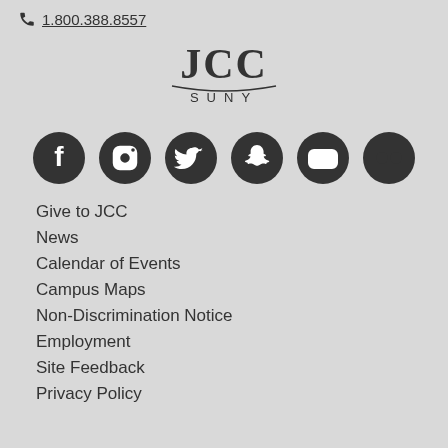1.800.388.8557
[Figure (logo): JCC SUNY logo with stylized JCC text and SUNY below a curved line]
[Figure (infographic): Row of 6 social media icons: Facebook, Instagram, Twitter, Snapchat, YouTube, Flickr]
Give to JCC
News
Calendar of Events
Campus Maps
Non-Discrimination Notice
Employment
Site Feedback
Privacy Policy